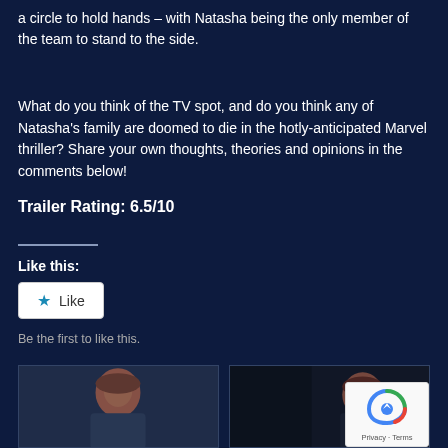a circle to hold hands – with Natasha being the only member of the team to stand to the side.
What do you think of the TV spot, and do you think any of Natasha's family are doomed to die in the hotly-anticipated Marvel thriller? Share your own thoughts, theories and opinions in the comments below!
Trailer Rating: 6.5/10
Like this:
[Figure (other): Like button widget with star icon and 'Like' text]
Be the first to like this.
[Figure (photo): Two thumbnail images of a red-haired woman (Black Widow character) in action/dramatic scenes, with a reCAPTCHA privacy badge in the bottom right corner]